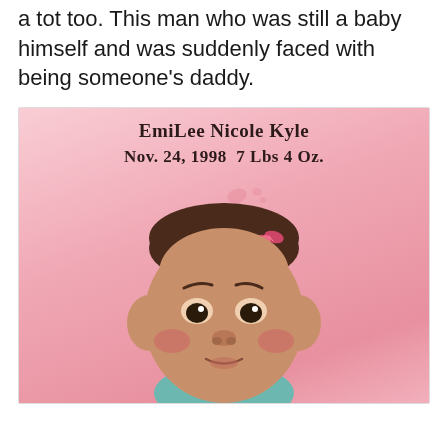a tot too. This man who was still a baby himself and was suddenly faced with being someone's daddy.
[Figure (photo): Baby photo of EmiLee Nicole Kyle on pink background. Text overlay reads: EmiLee Nicole Kyle Nov. 24, 1998 7 Lbs 4 Oz. A newborn baby girl with dark hair and a small pink bow clip is shown from the shoulders up, looking directly at the camera.]